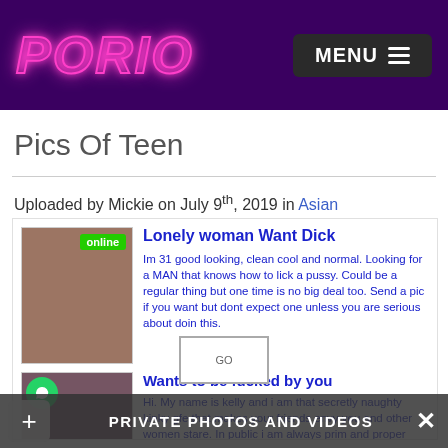PORIO  MENU
Pics Of Teen
Uploaded by Mickie on July 9th, 2019 in Asian
[Figure (screenshot): Advertisement banner with two listings: 'Lonely woman Want Dick' and 'Wants to be fucked by you' with profile images and blue text descriptions]
PRIVATE PHOTOS AND VIDEOS